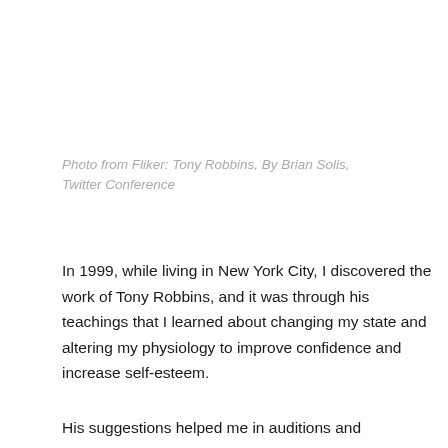Photo from Fliker: Tony Robbins, By Brian Solis, Twitter Conference
In 1999, while living in New York City, I discovered the work of Tony Robbins, and it was through his teachings that I learned about changing my state and altering my physiology to improve confidence and increase self-esteem.
His suggestions helped me in auditions and